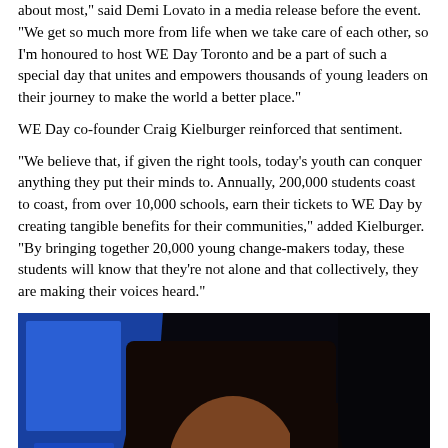about most," said Demi Lovato in a media release before the event. "We get so much more from life when we take care of each other, so I'm honoured to host WE Day Toronto and be a part of such a special day that unites and empowers thousands of young leaders on their journey to make the world a better place."
WE Day co-founder Craig Kielburger reinforced that sentiment.
"We believe that, if given the right tools, today's youth can conquer anything they put their minds to. Annually, 200,000 students coast to coast, from over 10,000 schools, earn their tickets to WE Day by creating tangible benefits for their communities," added Kielburger. "By bringing together 20,000 young change-makers today, these students will know that they're not alone and that collectively, they are making their voices heard."
[Figure (photo): Photo of a woman with long dark hair and bangs, speaking at what appears to be a WE Day event, with blue stage lighting in the background. She appears to be speaking into a microphone.]